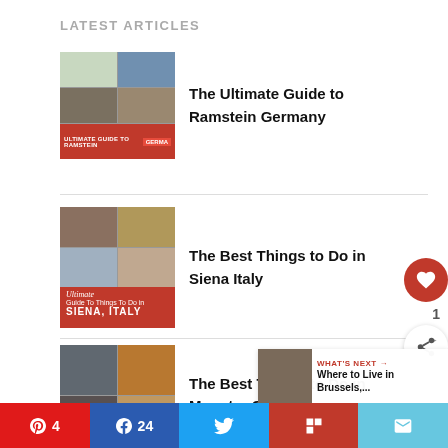LATEST ARTICLES
[Figure (photo): Thumbnail image for Ultimate Guide to Ramstein Germany article]
The Ultimate Guide to Ramstein Germany
[Figure (photo): Thumbnail image for Best Things to Do in Siena Italy article]
The Best Things to Do in Siena Italy
[Figure (photo): Thumbnail image for Best Things to Do in Munster Germany article]
The Best Things to Do in Munster Germany
WHAT'S NEXT → Where to Live in Brussels,...